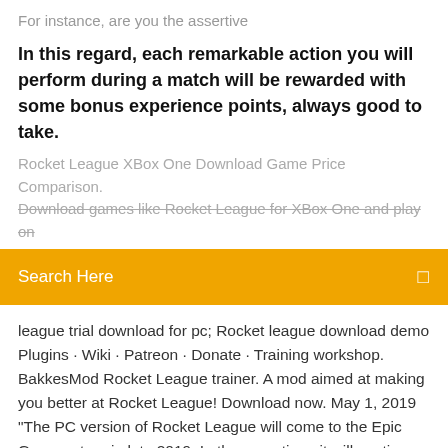For instance, are you the assertive
In this regard, each remarkable action you will perform during a match will be rewarded with some bonus experience points, always good to take.
Rocket League XBox One Download Game Price Comparison. Download games like Rocket League for XBox One and play on
[Figure (screenshot): Orange search bar with 'Search Here' text and a search icon on the right]
league trial download for pc; Rocket league download demo Plugins · Wiki · Patreon · Donate · Training workshop. BakkesMod Rocket League trainer. A mod aimed at making you better at Rocket League! Download now. May 1, 2019 "The PC version of Rocket League will come to the Epic Games store in late 2019. In the meantime, it will continue to be available for purchase  World leading platform for esports. Play CS:GO, LoL, CoD, FIFA, SC2, WoT and more against real opponents for prizes and cash.